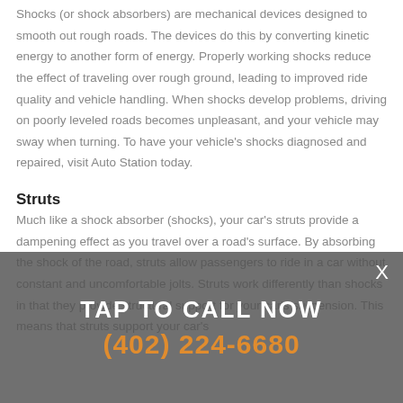Shocks (or shock absorbers) are mechanical devices designed to smooth out rough roads. The devices do this by converting kinetic energy to another form of energy. Properly working shocks reduce the effect of traveling over rough ground, leading to improved ride quality and vehicle handling. When shocks develop problems, driving on poorly leveled roads becomes unpleasant, and your vehicle may sway when turning. To have your vehicle's shocks diagnosed and repaired, visit Auto Station today.
Struts
Much like a shock absorber (shocks), your car's struts provide a dampening effect as you travel over a road's surface. By absorbing the shock of the road, struts allow passengers to ride in a car without constant and uncomfortable jolts. Struts work differently than shocks in that they provide structural support for your car's suspension. This means that struts support your car's
[Figure (other): Semi-transparent dark gray overlay banner with white bold text 'TAP TO CALL NOW' and orange phone number '(402) 224-6680' and a white X close button in the top right corner.]